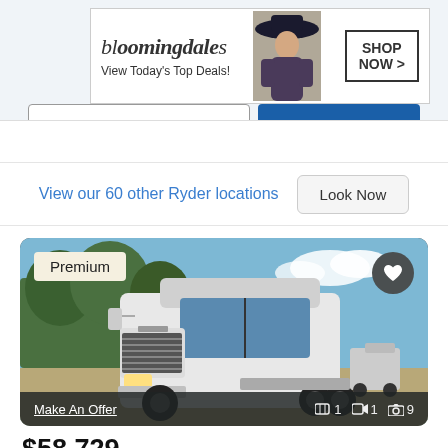[Figure (screenshot): Bloomingdale's advertisement banner: logo text 'bloomingdales', tagline 'View Today's Top Deals!', woman with wide-brim hat, 'SHOP NOW >' button]
View our 60 other Ryder locations
Look Now
[Figure (photo): 2015 Freightliner Cascadia 125 white semi-truck (day cab/tractor) parked in a lot, front three-quarter view. 'Premium' badge top-left, heart icon top-right, 'Make An Offer' link bottom-left, media count icons bottom-right (1 panorama, 1 video, 9 photos).]
$58,729
2015 FREIGHTLINER CASCADIA 125 Conventional - Day Cab, Tractor